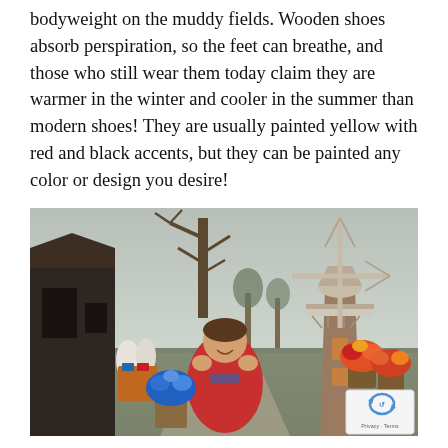bodyweight on the muddy fields. Wooden shoes absorb perspiration, so the feet can breathe, and those who still wear them today claim they are warmer in the winter and cooler in the summer than modern shoes! They are usually painted yellow with red and black accents, but they can be painted any color or design you desire!
[Figure (photo): A woman in a red jacket smiling in front of a Dutch windmill, with flower baskets, a souvenir shop on the left, and bare winter trees. A reCAPTCHA badge is visible in the bottom-right corner of the photo with 'Privacy - Terms' text.]